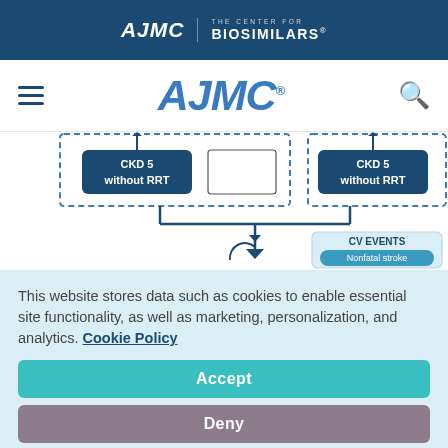AJMC | THE CENTER FOR BIOSIMILARS
[Figure (screenshot): AJMC website navigation bar with hamburger menu, AJMC logo in blue italic, and search icon]
[Figure (flowchart): Partial clinical flowchart showing CKD 5 without RRT nodes (two instances) connected by dashed borders, leading downward via arrows to CV EVENTS box containing Nonfatal stroke label]
This website stores data such as cookies to enable essential site functionality, as well as marketing, personalization, and analytics. Cookie Policy
Accept
Deny